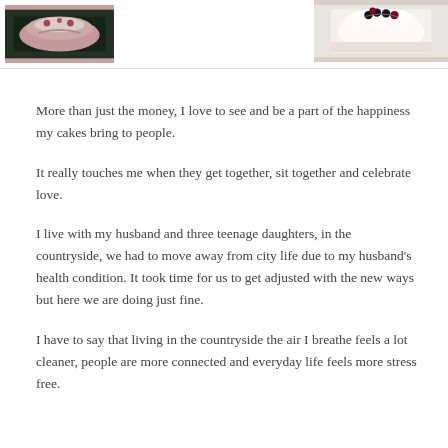[Figure (photo): Two food photos side by side at top of page: left shows a decorated cake slice, right shows a cake with berries on top]
More than just the money, I love to see and be a part of the happiness my cakes bring to people.
It really touches me when they get together, sit together and celebrate love.
I live with my husband and three teenage daughters, in the countryside, we had to move away from city life due to my husband's health condition. It took time for us to get adjusted with the new ways but here we are doing just fine.
I have to say that living in the countryside the air I breathe feels a lot cleaner, people are more connected and everyday life feels more stress free.